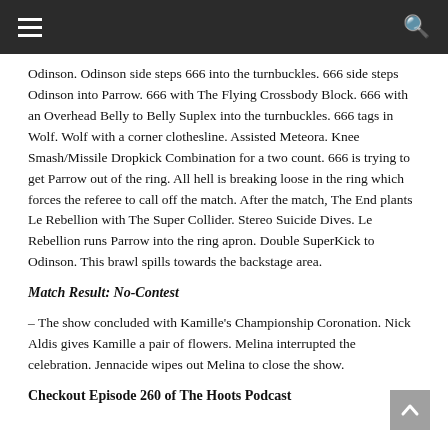Navigation bar with hamburger menu and search icon
Odinson. Odinson side steps 666 into the turnbuckles. 666 side steps Odinson into Parrow. 666 with The Flying Crossbody Block. 666 with an Overhead Belly to Belly Suplex into the turnbuckles. 666 tags in Wolf. Wolf with a corner clothesline. Assisted Meteora. Knee Smash/Missile Dropkick Combination for a two count. 666 is trying to get Parrow out of the ring. All hell is breaking loose in the ring which forces the referee to call off the match. After the match, The End plants Le Rebellion with The Super Collider. Stereo Suicide Dives. Le Rebellion runs Parrow into the ring apron. Double SuperKick to Odinson. This brawl spills towards the backstage area.
Match Result: No-Contest
– The show concluded with Kamille's Championship Coronation. Nick Aldis gives Kamille a pair of flowers. Melina interrupted the celebration. Jennacide wipes out Melina to close the show.
Checkout Episode 260 of The Hoots Podcast